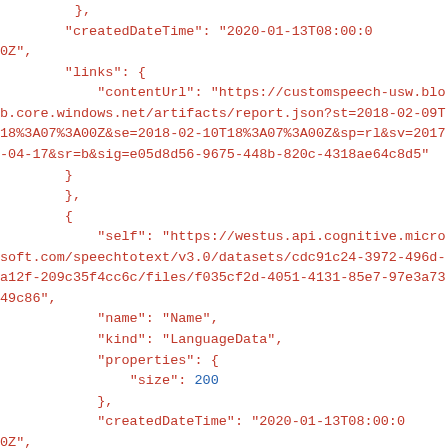JSON code block showing dataset API response with createdDateTime, links, contentUrl, self, name, kind, properties, size fields